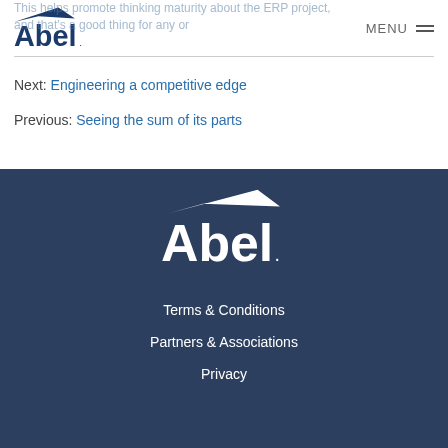Abel logo and MENU navigation header
This helps promote thinking maturity about the ERP project, and that's a good thing for any or...
Next: Engineering a competitive edge
Previous: Seeing the sum of its parts
[Figure (logo): Abel logo in white on dark blue footer background]
Terms & Conditions
Partners & Associations
Privacy